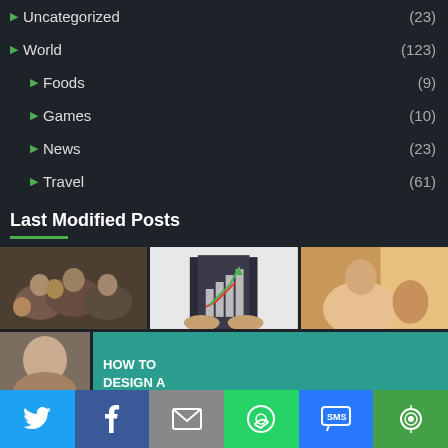Uncategorized (23)
World (123)
Foods (9)
Games (10)
News (23)
Travel (61)
Last Modified Posts
[Figure (photo): Group of people on a couch watching something together]
[Figure (photo): Businessman holding a bar chart showing growth]
[Figure (photo): Pregnant woman sitting on a couch holding a stuffed animal]
[Figure (photo): Young girl looking at camera, partially visible]
HOW TO DESIGN A